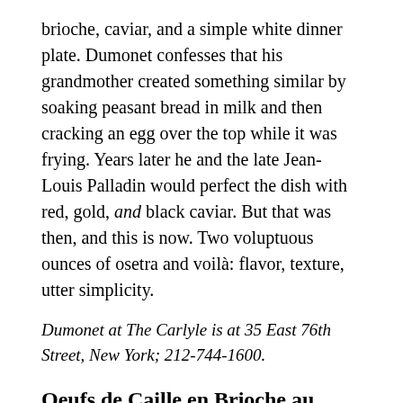brioche, caviar, and a simple white dinner plate. Dumonet confesses that his grandmother created something similar by soaking peasant bread in milk and then cracking an egg over the top while it was frying. Years later he and the late Jean-Louis Palladin would perfect the dish with red, gold, and black caviar. But that was then, and this is now. Two voluptuous ounces of osetra and voilà: flavor, texture, utter simplicity.
Dumonet at The Carlyle is at 35 East 76th Street, New York; 212-744-1600.
Oeufs de Caille en Brioche au Caviar
(Toasted Brioche with Quail Eggs and Caviar)
BY JEAN-LOUIS DUMONET